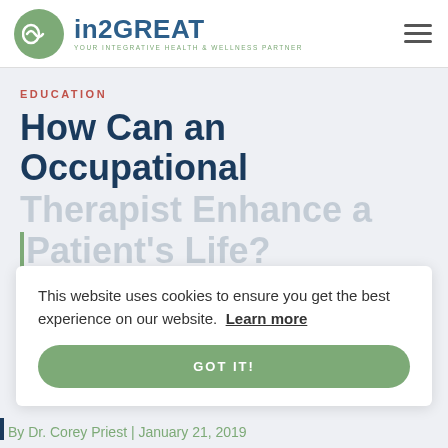[Figure (logo): in2GREAT logo — green circle with stylized 'iw' letters, followed by 'in2GREAT' in dark blue bold text, tagline 'YOUR INTEGRATIVE HEALTH & WELLNESS PARTNER' in small green caps]
EDUCATION
How Can an Occupational Therapist Enhance a Patient's Life?
This website uses cookies to ensure you get the best experience on our website. Learn more
GOT IT!
By Dr. Corey Priest | January 21, 2019